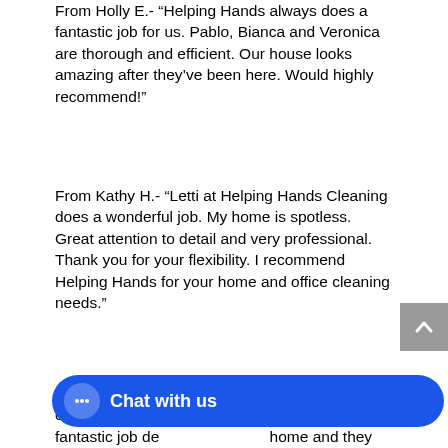From Holly E.- “Helping Hands always does a fantastic job for us. Pablo, Bianca and Veronica are thorough and efficient. Our house looks amazing after they’ve been here. Would highly recommend!”
From Kathy H.- “Letti at Helping Hands Cleaning does a wonderful job. My home is spotless. Great attention to detail and very professional. Thank you for your flexibility. I recommend Helping Hands for your home and office cleaning needs.”
From Julia U. – “So impressed with our first cleaning from Helping Han... Maria did a fantastic job deep cleaning our home and they were very efficient. I was